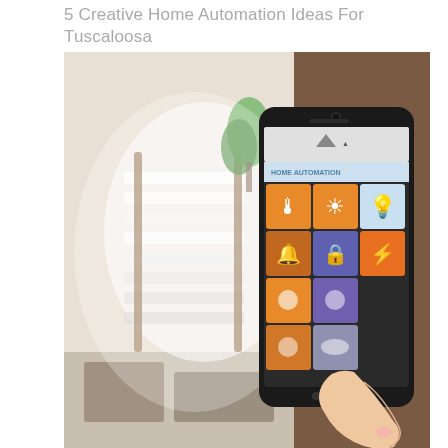5 Creative Home Automation Ideas For Tuscaloosa
[Figure (photo): A hand holding a smartphone displaying a home automation app with colorful icons for lighting, security, thermostat, and other smart home controls, with a blurred modern home interior featuring a spiral staircase and plant in the background.]